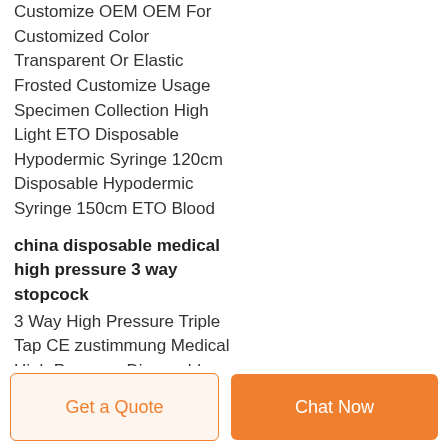Customize OEM OEM For Customized Color Transparent Or Elastic Frosted Customize Usage Specimen Collection High Light ETO Disposable Hypodermic Syringe 120cm Disposable Hypodermic Syringe 150cm ETO Blood
china disposable medical high pressure 3 way stopcock
3 Way High Pressure Triple Tap CE zustimmung Medical High Pressure Disposable ON/OFF 3 weg Port Stopcock Infusion Manifolds kit für Anaesthesiology dragon
Get a Quote  Chat Now